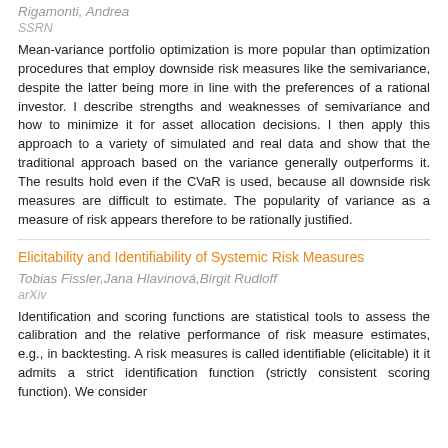Rigamonti, Andrea
SSRN
Mean-variance portfolio optimization is more popular than optimization procedures that employ downside risk measures like the semivariance, despite the latter being more in line with the preferences of a rational investor. I describe strengths and weaknesses of semivariance and how to minimize it for asset allocation decisions. I then apply this approach to a variety of simulated and real data and show that the traditional approach based on the variance generally outperforms it. The results hold even if the CVaR is used, because all downside risk measures are difficult to estimate. The popularity of variance as a measure of risk appears therefore to be rationally justified.
Elicitability and Identifiability of Systemic Risk Measures
Tobias Fissler,Jana Hlavinová,Birgit Rudloff
arXiv
Identification and scoring functions are statistical tools to assess the calibration and the relative performance of risk measure estimates, e.g., in backtesting. A risk measures is called identifiable (elicitable) it it admits a strict identification function (strictly consistent scoring function). We consider